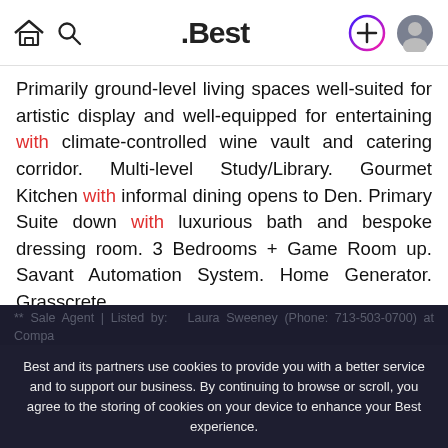.Best
Primarily ground-level living spaces well-suited for artistic display and well-equipped for entertaining with climate-controlled wine vault and catering corridor. Multi-level Study/Library. Gourmet Kitchen with informal dining opens to Den. Primary Suite down with luxurious bath and bespoke dressing room. 3 Bedrooms + Game Room up. Savant Automation System. Home Generator. Grasscrete
Best and its partners use cookies to provide you with a better service and to support our business. By continuing to browse or scroll, you agree to the storing of cookies on your device to enhance your Best experience.
Accept cookies
Only essentials
Learn more about our privacy policy.
** Sale Agent | Listed by: Laura Sweeney (Phone: 713-503-0700) at Compa
** For more please visit compass.com/listing/... -street-houston-tx-77007/953780cb0321468765a/